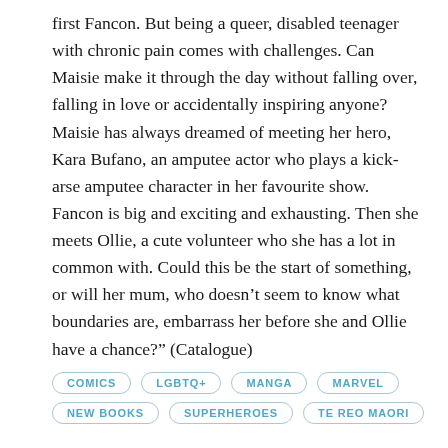first Fancon. But being a queer, disabled teenager with chronic pain comes with challenges. Can Maisie make it through the day without falling over, falling in love or accidentally inspiring anyone? Maisie has always dreamed of meeting her hero, Kara Bufano, an amputee actor who plays a kick-arse amputee character in her favourite show. Fancon is big and exciting and exhausting. Then she meets Ollie, a cute volunteer who she has a lot in common with. Could this be the start of something, or will her mum, who doesn’t seem to know what boundaries are, embarrass her before she and Ollie have a chance?” (Catalogue)
COMICS
LGBTQ+
MANGA
MARVEL
NEW BOOKS
SUPERHEROES
TE REO MAORI